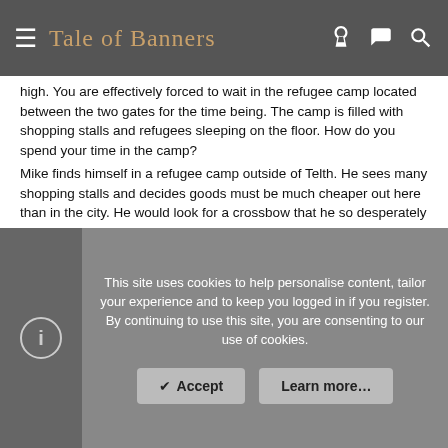Tale of Banners
high. You are effectively forced to wait in the refugee camp located between the two gates for the time being. The camp is filled with shopping stalls and refugees sleeping on the floor. How do you spend your time in the camp?
Mike finds himself in a refugee camp outside of Telth. He sees many shopping stalls and decides goods must be much cheaper out here than in the city. He would look for a crossbow that he so desperately needs. He would spend hours in the stalls looking at things to buy for a cheep price.
-
-
This site uses cookies to help personalise content, tailor your experience and to keep you logged in if you register.
By continuing to use this site, you are consenting to our use of cookies.